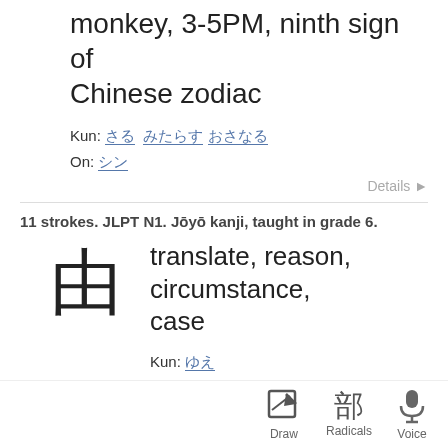monkey, 3-5PM, ninth sign of Chinese zodiac
Kun: さる みたらす おさなる
On: シン
Details ►
11 strokes. JLPT N1. Jōyō kanji, taught in grade 6.
translate, reason, circumstance, case
Kun: ゆえ
On: ユ
Details ►
Sentences — 76 found
それはども
すみませんでした。
Oh, I'm sorry.